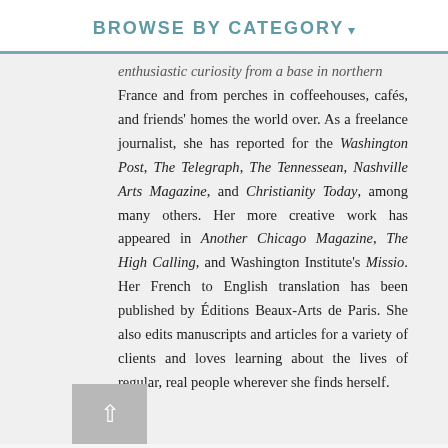BROWSE BY CATEGORY ▾
enthusiastic curiosity from a base in northern France and from perches in coffeehouses, cafés, and friends' homes the world over. As a freelance journalist, she has reported for the Washington Post, The Telegraph, The Tennessean, Nashville Arts Magazine, and Christianity Today, among many others. Her more creative work has appeared in Another Chicago Magazine, The High Calling, and Washington Institute's Missio. Her French to English translation has been published by Éditions Beaux-Arts de Paris. She also edits manuscripts and articles for a variety of clients and loves learning about the lives of regular, real people wherever she finds herself.